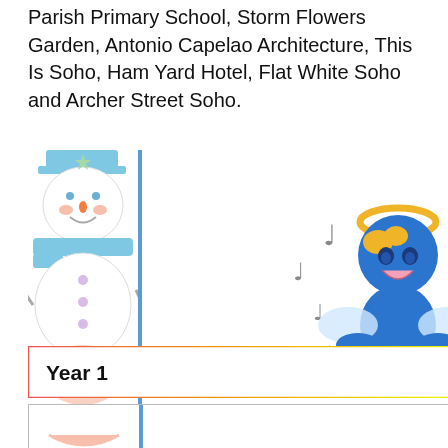Parish Primary School, Storm Flowers Garden, Antonio Capelao Architecture, This Is Soho, Ham Yard Hotel, Flat White Soho and Archer Street Soho.
[Figure (illustration): Christmas card design showing a blue cartoon angel character with a golden halo, surrounded by musical notes, on a white background. To the left is a partial view of a snowman illustration with blue scarf and hat.]
Year 1